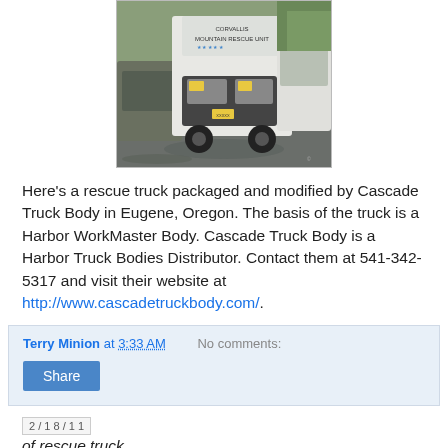[Figure (photo): Rescue truck from Cascade Truck Body / Corvallis Mountain Rescue Unit, white Ford truck on wet pavement with other vehicles]
Here's a rescue truck packaged and modified by Cascade Truck Body in Eugene, Oregon. The basis of the truck is a Harbor WorkMaster Body. Cascade Truck Body is a Harbor Truck Bodies Distributor. Contact them at 541-342-5317 and visit their website at http://www.cascadetruckbody.com/.
Terry Minion at 3:33 AM   No comments:
Share
2/18/11